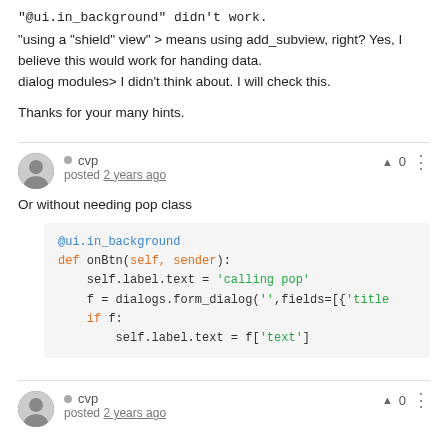"@ui.in_background" didn't work.
"using a "shield" view" > means using add_subview, right? Yes, I believe this would work for handing data.
dialog modules> I didn't think about. I will check this.

Thanks for your many hints.
cvp
posted 2 years ago
Or without needing pop class
@ui.in_background
def onBtn(self, sender):
    self.label.text = 'calling pop'
    f = dialogs.form_dialog('',fields=[{'title
    if f:
        self.label.text = f['text']
cvp
posted 2 years ago